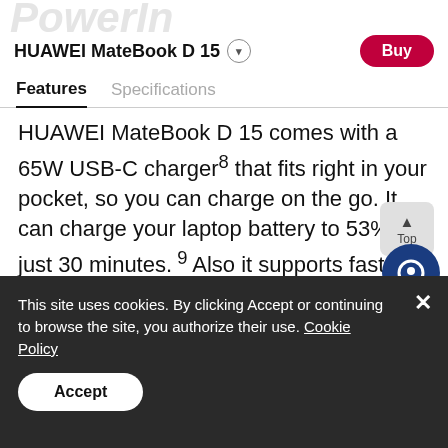PowerIn
HUAWEI MateBook D 15
Features | Specifications
HUAWEI MateBook D 15 comes with a 65W USB-C charger⁸ that fits right in your pocket, so you can charge on the go. It can charge your laptop battery to 53% in just 30 minutes.⁹ Also it supports fast charging¹⁰ and data transfer for your phone.
This site uses cookies. By clicking Accept or continuing to browse the site, you authorize their use. Cookie Policy